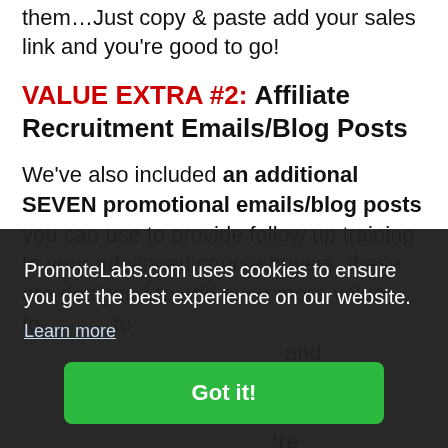them…Just copy & paste add your sales link and you're good to go!
VALUE EXTRA #2: Affiliate Recruitment Emails/Blog Posts
We've also included an additional SEVEN promotional emails/blog posts you can use to provide follow up training to your advanced course buyers, these are designed to add even more value to [obscured] and [obscured] ates [obscured] t [obscured] 're
PromoteLabs.com uses cookies to ensure you get the best experience on our website. Learn more
Got it!